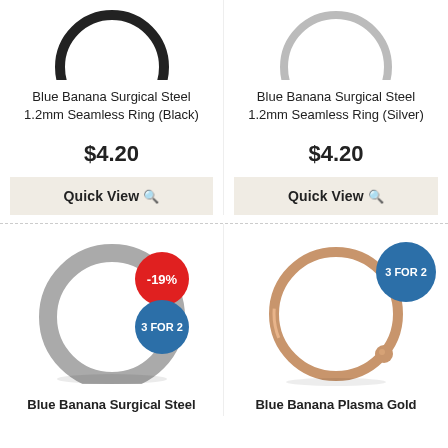[Figure (photo): Blue Banana Surgical Steel 1.2mm Seamless Ring (Black) - top portion of product image]
Blue Banana Surgical Steel 1.2mm Seamless Ring (Black)
$4.20
Quick View 🔍
[Figure (photo): Blue Banana Surgical Steel 1.2mm Seamless Ring (Silver) - top portion of product image]
Blue Banana Surgical Steel 1.2mm Seamless Ring (Silver)
$4.20
Quick View 🔍
[Figure (photo): Blue Banana Surgical Steel seamless ring (silver/steel), with -19% red badge and 3 FOR 2 blue badge]
Blue Banana Surgical Steel
[Figure (photo): Blue Banana Plasma Gold ball closure ring, with 3 FOR 2 blue badge]
Blue Banana Plasma Gold